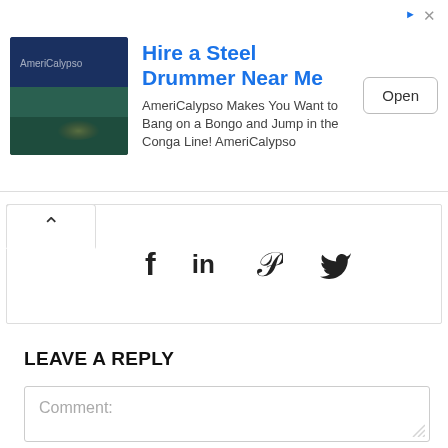[Figure (screenshot): Advertisement banner: image of a sunset landscape on left, title 'Hire a Steel Drummer Near Me', description text 'AmeriCalypso Makes You Want to Bang on a Bongo and Jump in the Conga Line! AmeriCalypso', and an 'Open' button on the right.]
[Figure (screenshot): Social sharing bar with up-arrow button and social media icons for Facebook (f), LinkedIn (in), Pinterest (p), and Twitter (bird icon).]
LEAVE A REPLY
Comment: